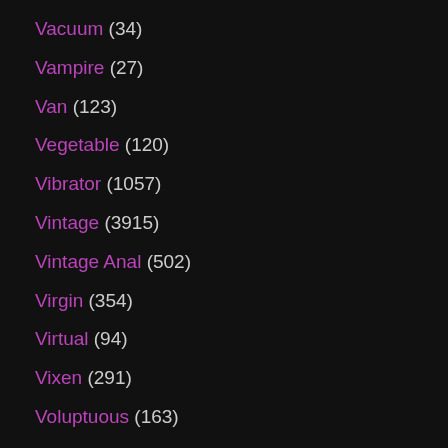Vacuum (34)
Vampire (27)
Van (123)
Vegetable (120)
Vibrator (1057)
Vintage (3915)
Vintage Anal (502)
Virgin (354)
Virtual (94)
Vixen (291)
Voluptuous (163)
Voyeur (12527)
WTF (8)
Waitress (50)
Wanking (212)
Watching (354)